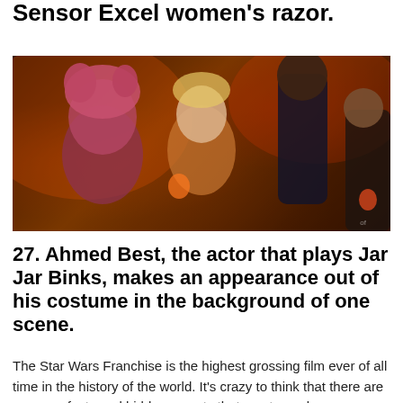Sensor Excel women's razor.
[Figure (photo): Scene from Star Wars showing costumed aliens and people in a dimly lit bar or club setting with warm orange/red lighting. Several figures in colorful costumes are visible including what appears to be alien characters.]
27. Ahmed Best, the actor that plays Jar Jar Binks, makes an appearance out of his costume in the background of one scene.
The Star Wars Franchise is the highest grossing film ever of all time in the history of the world. It's crazy to think that there are so many facts and hidden secrets that most people